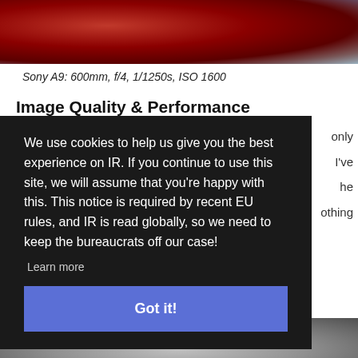[Figure (photo): Sports photo showing soccer/football players, one in red jersey and one in white, cropped at top of page]
Sony A9: 600mm, f/4, 1/1250s, ISO 1600
Image Quality & Performance
only
 I've
 he
 othing
We use cookies to help us give you the best experience on IR. If you continue to use this site, we will assume that you're happy with this. This notice is required by recent EU rules, and IR is read globally, so we need to keep the bureaucrats off our case!
Learn more
Got it!
[Figure (photo): Partial sports photo at bottom showing athlete legs/feet on grass]